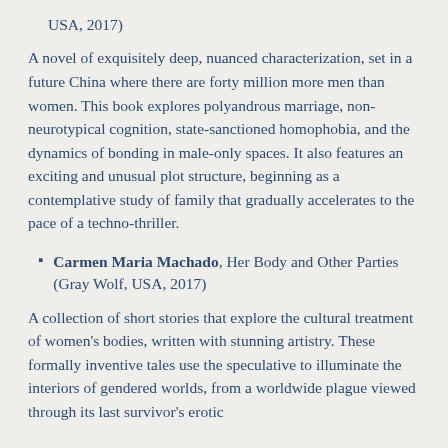USA, 2017)
A novel of exquisitely deep, nuanced characterization, set in a future China where there are forty million more men than women. This book explores polyandrous marriage, non-neurotypical cognition, state-sanctioned homophobia, and the dynamics of bonding in male-only spaces. It also features an exciting and unusual plot structure, beginning as a contemplative study of family that gradually accelerates to the pace of a techno-thriller.
Carmen Maria Machado, Her Body and Other Parties (Gray Wolf, USA, 2017)
A collection of short stories that explore the cultural treatment of women's bodies, written with stunning artistry. These formally inventive tales use the speculative to illuminate the interiors of gendered worlds, from a worldwide plague viewed through its last survivor's erotic